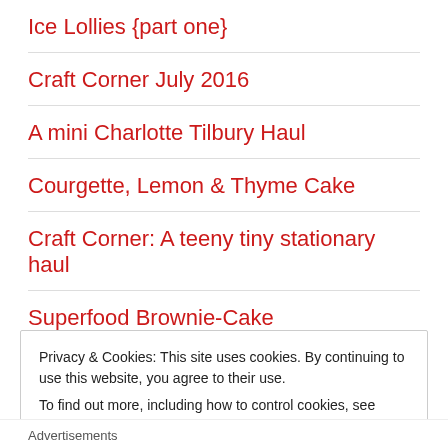Ice Lollies {part one}
Craft Corner July 2016
A mini Charlotte Tilbury Haul
Courgette, Lemon & Thyme Cake
Craft Corner: A teeny tiny stationary haul
Superfood Brownie-Cake
Privacy & Cookies: This site uses cookies. By continuing to use this website, you agree to their use.
To find out more, including how to control cookies, see here: Cookie Policy
Close and accept
Advertisements